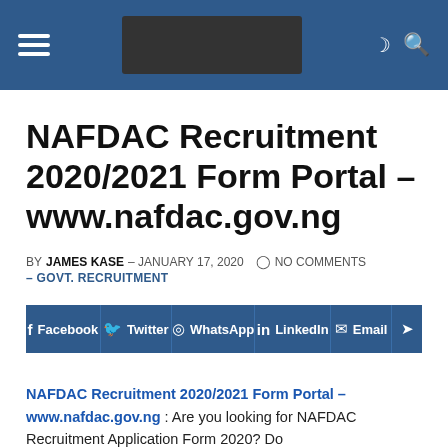Navigation bar with hamburger menu, site logo, moon/search icons
NAFDAC Recruitment 2020/2021 Form Portal – www.nafdac.gov.ng
BY JAMES KASE – JANUARY 17, 2020  NO COMMENTS – GOVT. RECRUITMENT
[Figure (infographic): Social share buttons row: Facebook, Twitter, WhatsApp, LinkedIn, Email, Telegram on dark blue background]
NAFDAC Recruitment 2020/2021 Form Portal – www.nafdac.gov.ng : Are you looking for NAFDAC Recruitment Application Form 2020? Do